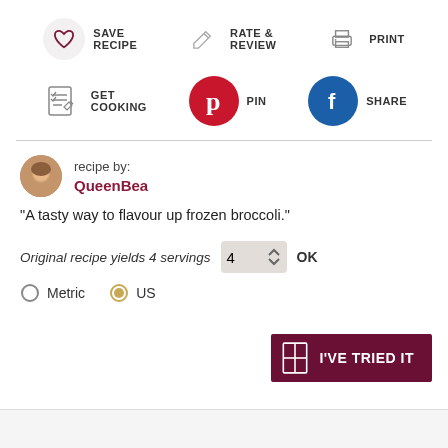[Figure (infographic): Recipe action buttons row 1: Save Recipe (heart icon), Rate & Review (pencil icon), Print (printer icon)]
[Figure (infographic): Recipe action buttons row 2: Get Cooking (checklist icon), Pin (Pinterest logo), Share (Facebook logo)]
recipe by: QueenBea
"A tasty way to flavour up frozen broccoli."
Original recipe yields 4 servings
Metric  US
[Figure (screenshot): I'VE TRIED IT button in dark maroon/purple]